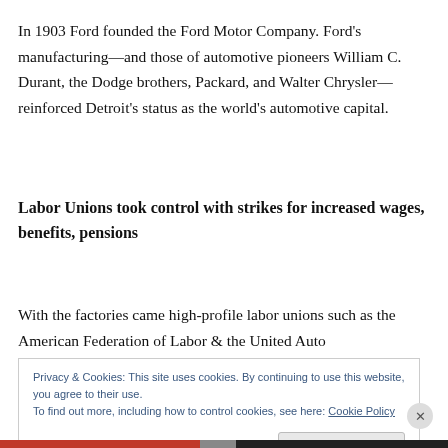In 1903 Ford founded the Ford Motor Company. Ford's manufacturing—and those of automotive pioneers William C. Durant, the Dodge brothers, Packard, and Walter Chrysler—reinforced Detroit's status as the world's automotive capital.
Labor Unions took control with strikes for increased wages, benefits, pensions
With the factories came high-profile labor unions such as the American Federation of Labor & the United Auto
Privacy & Cookies: This site uses cookies. By continuing to use this website, you agree to their use.
To find out more, including how to control cookies, see here: Cookie Policy
Close and accept